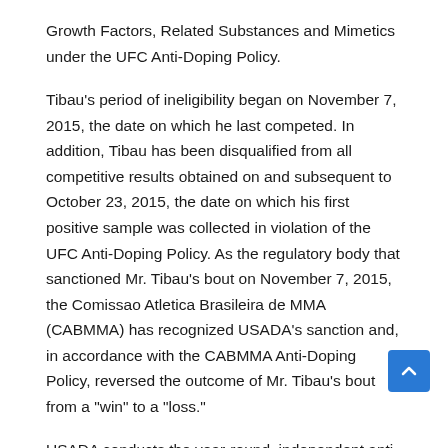Growth Factors, Related Substances and Mimetics under the UFC Anti-Doping Policy.
Tibau's period of ineligibility began on November 7, 2015, the date on which he last competed. In addition, Tibau has been disqualified from all competitive results obtained on and subsequent to October 23, 2015, the date on which his first positive sample was collected in violation of the UFC Anti-Doping Policy. As the regulatory body that sanctioned Mr. Tibau's bout on November 7, 2015, the Comissao Atletica Brasileira de MMA (CABMMA) has recognized USADA's sanction and, in accordance with the CABMMA Anti-Doping Policy, reversed the outcome of Mr. Tibau's bout from a "win" to a "loss."
USADA conducts the year-round, independent anti-doping program for all UFC athletes. USADA is an independent, non-profit, non-governmental agency whose sole mission is to preserve the integrity of competition, inspire true sport, and